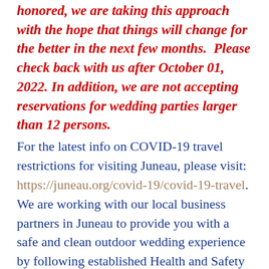honored, we are taking this approach with the hope that things will change for the better in the next few months.  Please check back with us after October 01, 2022. In addition, we are not accepting reservations for wedding parties larger than 12 persons.
For the latest info on COVID-19 travel restrictions for visiting Juneau, please visit: https://juneau.org/covid-19/covid-19-travel. We are working with our local business partners in Juneau to provide you with a safe and clean outdoor wedding experience by following established Health and Safety Protocols.  If you